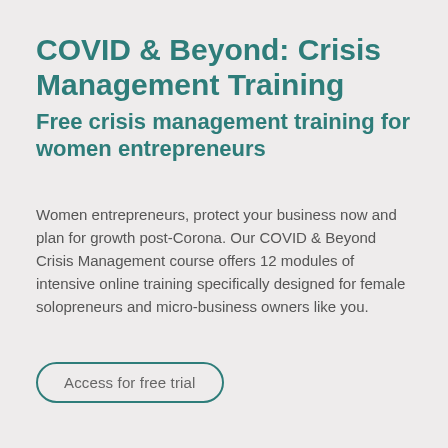COVID & Beyond: Crisis Management Training
Free crisis management training for women entrepreneurs
Women entrepreneurs, protect your business now and plan for growth post-Corona. Our COVID & Beyond Crisis Management course offers 12 modules of intensive online training specifically designed for female solopreneurs and micro-business owners like you.
Access for free trial